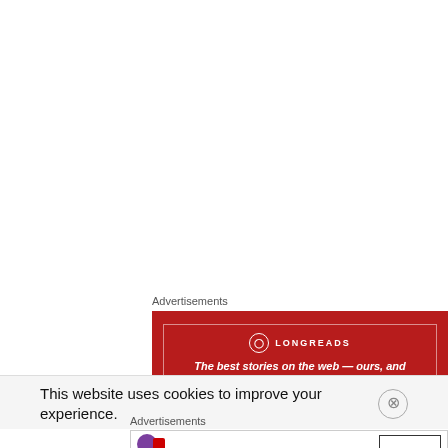Advertisements
[Figure (screenshot): Longreads advertisement banner with red background. Logo circle with 'L' and text 'LONGREADS'. Tagline: 'The best stories on the web — ours, and everyone else's.']
REPORT THIS AD
This website uses cookies to improve your experience.
Advertisements
[Figure (screenshot): Partially visible advertisement banner with purple circle logo and a button outline on the right.]